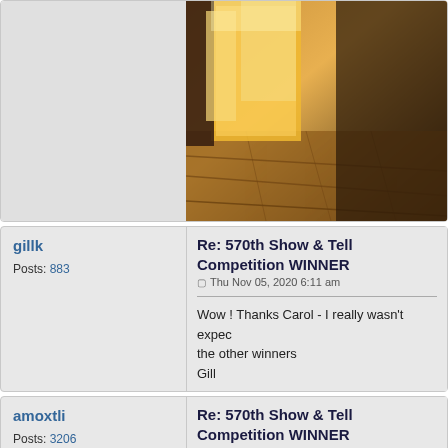[Figure (photo): Forum post top section: left gray area and right photo of a stone-paved alley/doorway lit with warm golden light]
gillk
Posts: 883
Re: 570th Show & Tell Competition WINNER
Thu Nov 05, 2020 6:11 am
Wow ! Thanks Carol - I really wasn't expec... the other winners
Gill
amoxtli
Posts: 3206
Location: San Diego, California
Re: 570th Show & Tell Competition WINNER
Fri Nov 06, 2020 12:22 am
Congratulations to all who participated. Tha...
Regards,